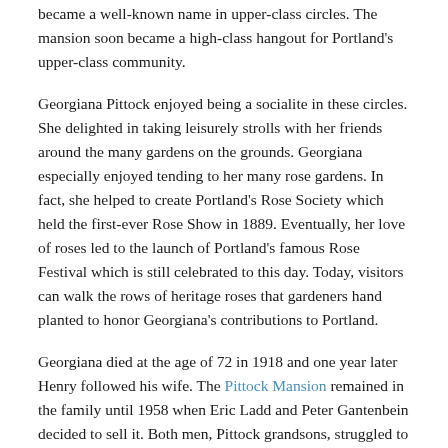became a well-known name in upper-class circles. The mansion soon became a high-class hangout for Portland's upper-class community.
Georgiana Pittock enjoyed being a socialite in these circles. She delighted in taking leisurely strolls with her friends around the many gardens on the grounds. Georgiana especially enjoyed tending to her many rose gardens. In fact, she helped to create Portland's Rose Society which held the first-ever Rose Show in 1889. Eventually, her love of roses led to the launch of Portland's famous Rose Festival which is still celebrated to this day. Today, visitors can walk the rows of heritage roses that gardeners hand planted to honor Georgiana's contributions to Portland.
Georgiana died at the age of 72 in 1918 and one year later Henry followed his wife. The Pittock Mansion remained in the family until 1958 when Eric Ladd and Peter Gantenbein decided to sell it. Both men, Pittock grandsons, struggled to keep up with the maintenance required to keep the mansion functional. Then, in 1962, the Columbus Day Storm hit causing millions of dollars worth of damage to the building. Ladd and Gantenbein decided to demolish the building but the city of Portland stepped in. The community came together and raised seventy-five thousand dollars in three months to save the mansion. Soon after, the city of Portland purchased the mansion for two-hundred and twenty-five